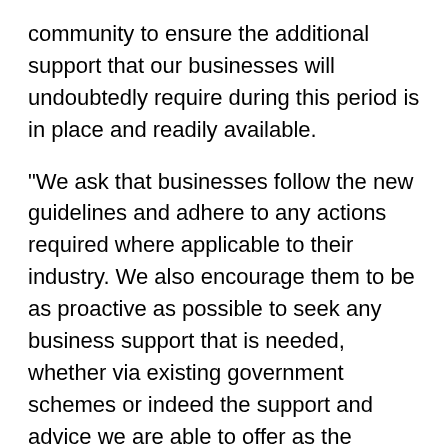community to ensure the additional support that our businesses will undoubtedly require during this period is in place and readily available.
"We ask that businesses follow the new guidelines and adhere to any actions required where applicable to their industry. We also encourage them to be as proactive as possible to seek any business support that is needed, whether via existing government schemes or indeed the support and advice we are able to offer as the county's local enterprise partnership."
Councillor Michele Mead, Leader of West Oxfordshire District Council, said: "Even though we have not moved to tier 2 in West Oxfordshire, there is no room for complacency. We must remain vigilant, act sensibly and abide by the rules. We will get through this with